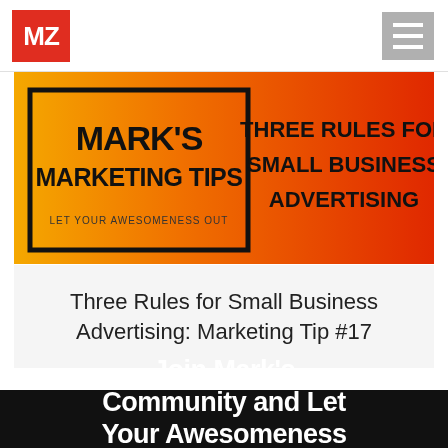MZ | Navigation menu
[Figure (illustration): Mark's Marketing Tips banner image with orange/red gradient background. Left side shows a black bordered rectangle with 'MARK'S MARKETING TIPS' in bold black text and 'LET YOUR AWESOMENESS OUT' below. Right side shows 'THREE RULES FOR SMALL BUSINESS ADVERTISING' in bold black text.]
Three Rules for Small Business Advertising: Marketing Tip #17
Join Mark's Community and Let Your Awesomeness Out